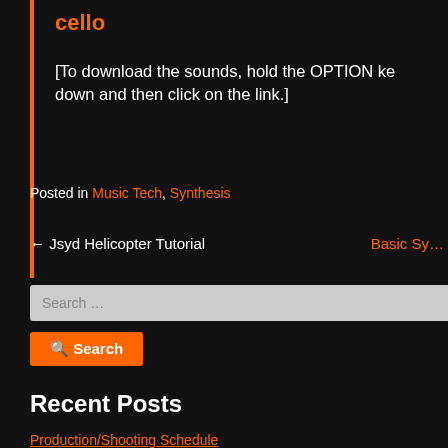cello
[To download the sounds, hold the OPTION ke down and then click on the link.]
Posted in Music Tech, Synthesis
← Jsyd Helicopter Tutorial
Basic Sy…
Search …
Search
Recent Posts
Production/Shooting Schedule